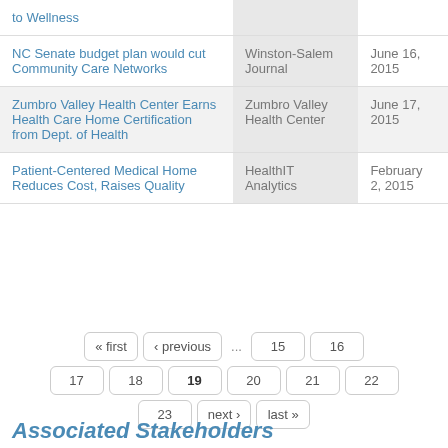| Article | Source | Date |
| --- | --- | --- |
| to Wellness |  |  |
| NC Senate budget plan would cut Community Care Networks | Winston-Salem Journal | June 16, 2015 |
| Zumbro Valley Health Center Earns Health Care Home Certification from Dept. of Health | Zumbro Valley Health Center | June 17, 2015 |
| Patient-Centered Medical Home Reduces Cost, Raises Quality | HealthIT Analytics | February 2, 2015 |
« first  ‹ previous  ...  15  16  17  18  19  20  21  22  23  next ›  last »
Associated Stakeholders